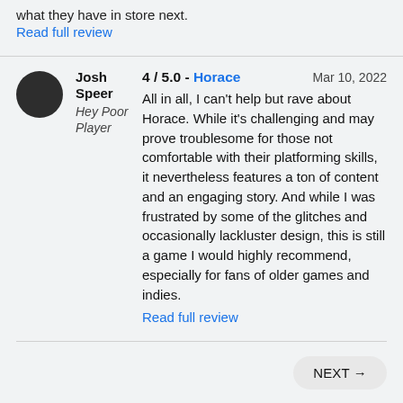what they have in store next.
Read full review
Josh Speer
Hey Poor Player
4 / 5.0 - Horace   Mar 10, 2022
All in all, I can't help but rave about Horace. While it's challenging and may prove troublesome for those not comfortable with their platforming skills, it nevertheless features a ton of content and an engaging story. And while I was frustrated by some of the glitches and occasionally lackluster design, this is still a game I would highly recommend, especially for fans of older games and indies.
Read full review